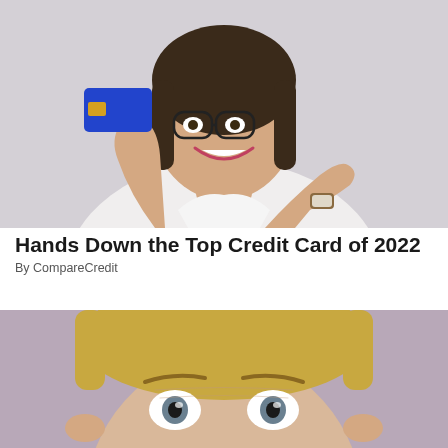[Figure (photo): A smiling woman with glasses wearing a white shirt, holding up a blue credit card in one hand and pointing at it with the other hand, wearing a watch on her wrist. Light grey background.]
Hands Down the Top Credit Card of 2022
By CompareCredit
[Figure (photo): Close-up of a woman's face with blonde hair and wide eyes looking upward, appearing surprised or curious.]